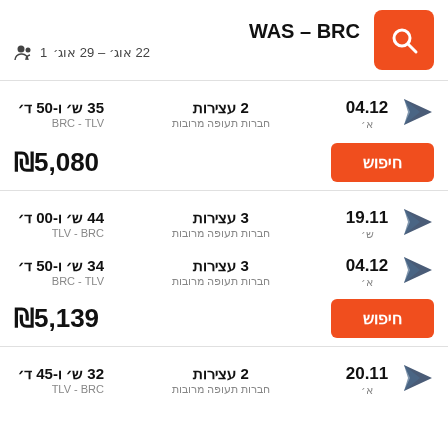WAS – BRC | 22 אוג׳ – 29 אוג׳ | 1
04.12 א׳ | 2 עצירות | חברות תעופה מרובות | BRC - TLV | 35 ש׳ ו-50 ד׳
₪5,080
19.11 ש׳ | 3 עצירות | חברות תעופה מרובות | TLV - BRC | 44 ש׳ ו-00 ד׳
04.12 א׳ | 3 עצירות | חברות תעופה מרובות | BRC - TLV | 34 ש׳ ו-50 ד׳
₪5,139
20.11 א׳ | 2 עצירות | TLV - BRC | 32 ש׳ ו-45 ד׳